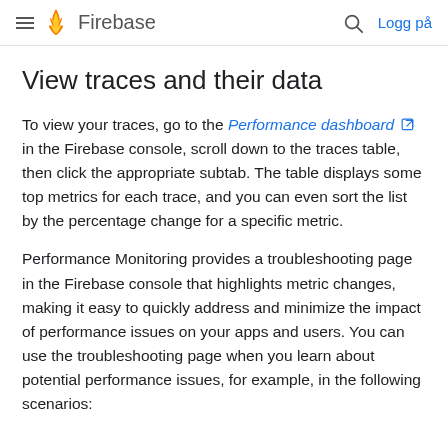Firebase  Logg på
View traces and their data
To view your traces, go to the Performance dashboard in the Firebase console, scroll down to the traces table, then click the appropriate subtab. The table displays some top metrics for each trace, and you can even sort the list by the percentage change for a specific metric.
Performance Monitoring provides a troubleshooting page in the Firebase console that highlights metric changes, making it easy to quickly address and minimize the impact of performance issues on your apps and users. You can use the troubleshooting page when you learn about potential performance issues, for example, in the following scenarios: